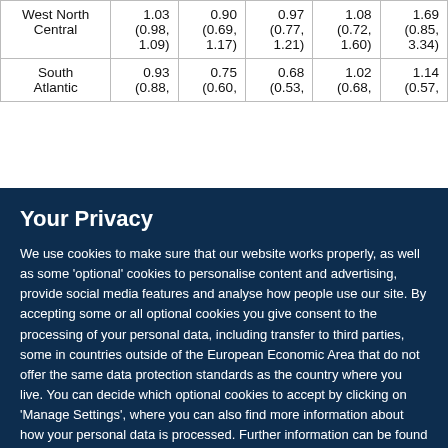| West North Central | 1.03 (0.98, 1.09) | 0.90 (0.69, 1.17) | 0.97 (0.77, 1.21) | 1.08 (0.72, 1.60) | 1.69 (0.85, 3.34) |
| South Atlantic | 0.93 (0.88, | 0.75 (0.60, | 0.68 (0.53, | 1.02 (0.68, | 1.14 (0.57, |
Your Privacy
We use cookies to make sure that our website works properly, as well as some 'optional' cookies to personalise content and advertising, provide social media features and analyse how people use our site. By accepting some or all optional cookies you give consent to the processing of your personal data, including transfer to third parties, some in countries outside of the European Economic Area that do not offer the same data protection standards as the country where you live. You can decide which optional cookies to accept by clicking on 'Manage Settings', where you can also find more information about how your personal data is processed. Further information can be found in our privacy policy.
Accept all cookies
Manage preferences